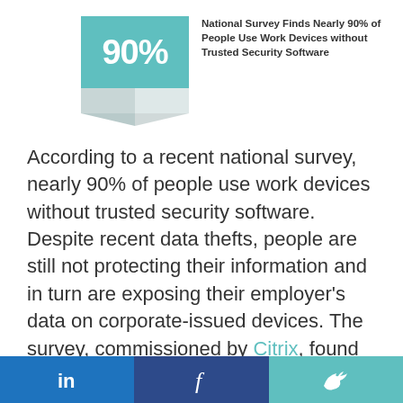[Figure (infographic): Teal box with '90%' text and chevron ribbon below it, next to a bold headline]
National Survey Finds Nearly 90% of People Use Work Devices without Trusted Security Software
According to a recent national survey, nearly 90% of people use work devices without trusted security software. Despite recent data thefts, people are still not protecting their information and in turn are exposing their employer’s data on corporate-issued devices. The survey, commissioned by Citrix, found that while people expect to access their information from anywhere on any device, they don’t understand the associated risk. The survey results show that businesses cannot rely on their employees to take the appropriate security precautions and
in  f  🐦